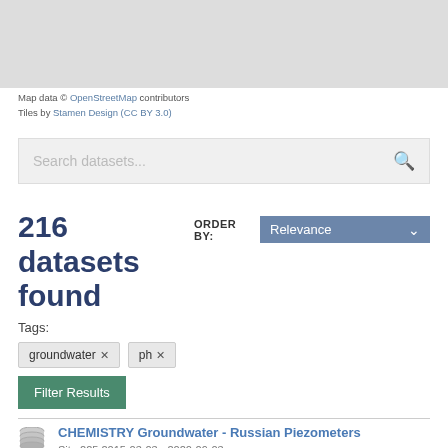[Figure (other): Map area placeholder (gray background representing a map view)]
Map data © OpenStreetMap contributors
Tiles by Stamen Design (CC BY 3.0)
Search datasets...
216 datasets found
ORDER BY: Relevance
Tags:
groundwater ✕   ph ✕
Filter Results
CHEMISTRY Groundwater - Russian Piezometers
Site 225 2015-03-03 - 2020-09-03.csv